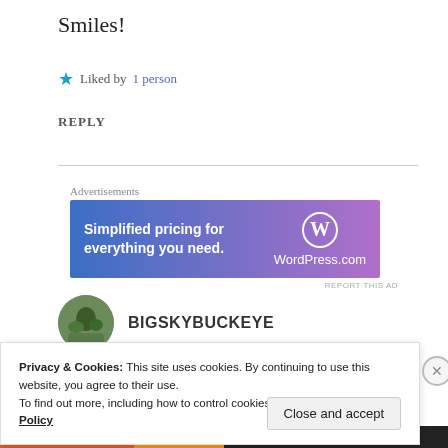Smiles!
★ Liked by 1 person
REPLY
Advertisements
[Figure (other): WordPress.com advertisement banner with gradient blue-to-purple background. Text: 'Simplified pricing for everything you need.' with WordPress.com logo.]
BIGSKYBUCKEYE
Privacy & Cookies: This site uses cookies. By continuing to use this website, you agree to their use.
To find out more, including how to control cookies, see here: Cookie Policy
Close and accept